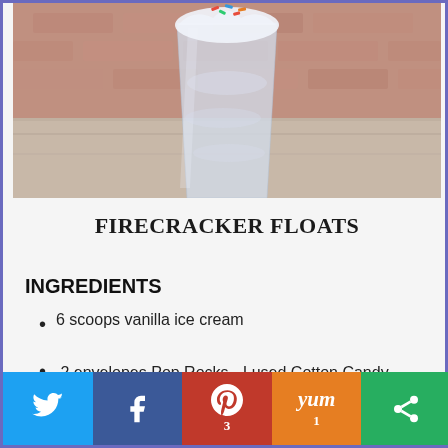[Figure (photo): A glass filled with vanilla ice cream float topped with whipped cream and colorful sprinkles, set on a wooden surface with red painted background]
FIRECRACKER FLOATS
INGREDIENTS
6 scoops vanilla ice cream
2 envelopes Pop Rocks - I used Cotton Candy